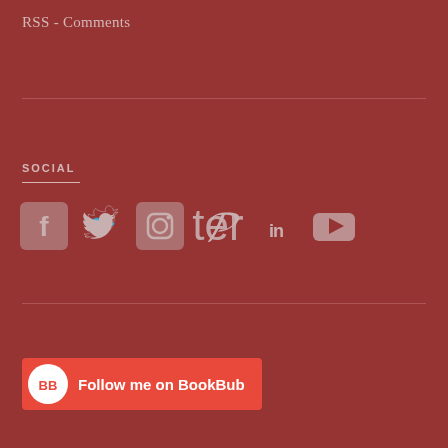RSS - Comments
SOCIAL
[Figure (infographic): Social media icons: Facebook, Twitter, Instagram, Pinterest, LinkedIn, YouTube displayed as rounded square icons in a row]
[Figure (infographic): BookBub follow button with BB logo circle and text 'Follow me on BookBub' on red/orange background]